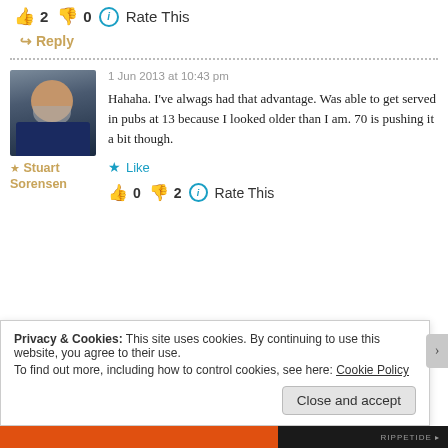👍 2  👎 0  ℹ Rate This
↪ Reply
[Figure (photo): Avatar photo of Stuart Sorensen, a middle-aged man with grey beard, wearing a dark blue shirt]
★ Stuart Sorensen
1 Jun 2013 at 10:43 pm
Hahaha. I've alwags had that advantage. Was able to get served in pubs at 13 because I looked older than I am. 70 is pushing it a bit though.
★ Like
👍 0  👎 2  ℹ Rate This
Privacy & Cookies: This site uses cookies. By continuing to use this website, you agree to their use.
To find out more, including how to control cookies, see here: Cookie Policy
Close and accept